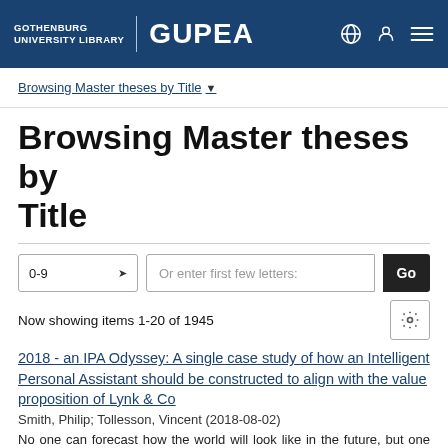GOTHENBURG UNIVERSITY LIBRARY | GUPEA
Browsing Master theses by Title
Browsing Master theses by Title
Now showing items 1-20 of 1945
2018 - an IPA Odyssey: A single case study of how an Intelligent Personal Assistant should be constructed to align with the value proposition of Lynk & Co
Smith, Philip; Tollesson, Vincent (2018-08-02)
No one can forecast how the world will look like in the future, but one can tell that it will be a completely different one from today. Companies are investing substantial amounts of money in new technology, with one of ...